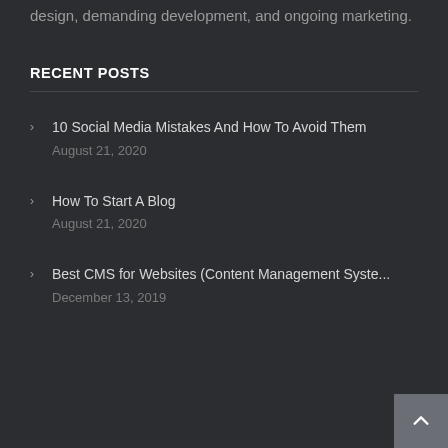design, demanding development, and ongoing marketing.
RECENT POSTS
10 Social Media Mistakes And How To Avoid Them
August 21, 2020
How To Start A Blog
August 21, 2020
Best CMS for Websites (Content Management Syste…
December 13, 2019